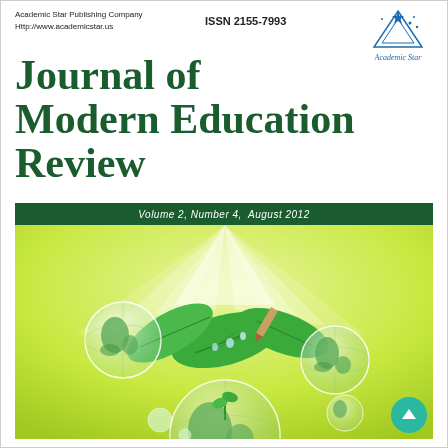Academic Star Publishing Company
Http://www.academicstar.us
ISSN 2155-7993
[Figure (logo): Academic Star logo with star and mountain graphic and 'Academic Star' italic text below]
Journal of Modern Education Review
Volume 2, Number 4,  August 2012
[Figure (illustration): Green nature-themed cover illustration with glowing light rays, green leaves with water droplets, and translucent globe bubbles floating on a light yellow-green gradient background]